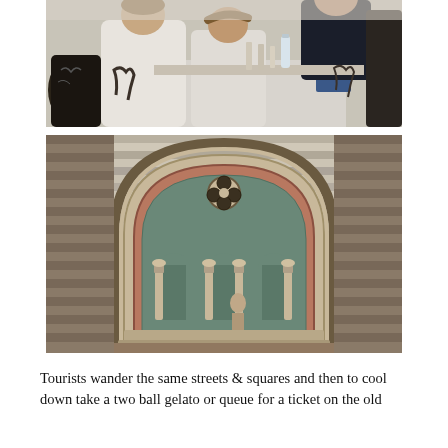[Figure (photo): People dining at an outdoor restaurant table, several men in white shirts seated around a table with glasses and bottles, one person with tattoos visible on arm]
[Figure (photo): Architectural detail of a Romanesque-style arched window on a striped marble building facade, featuring a trefoil opening at top and three small columns below the arch]
Tourists wander the same streets & squares and then to cool down take a two ball gelato or queue for a ticket on the old